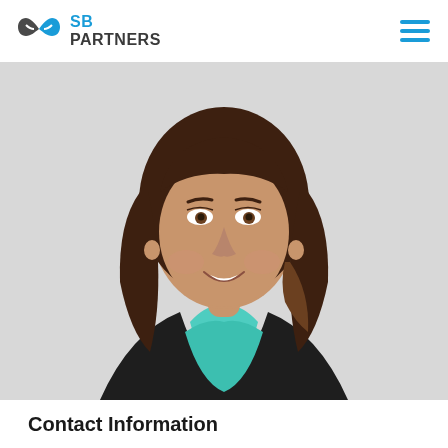SB Partners
[Figure (photo): Professional headshot of a woman with shoulder-length brown hair, wearing a black blazer over a green top, smiling, against a light grey background.]
Contact Information